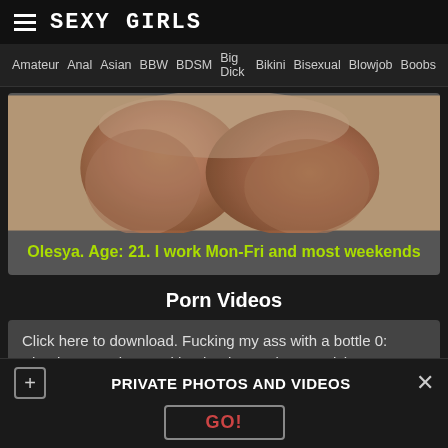SEXY GIRLS
Amateur  Anal  Asian  BBW  BDSM  Big Dick  Bikini  Bisexual  Blowjob  Boobs
[Figure (photo): Cropped photo of a woman's torso from above]
Olesya. Age: 21. I work Mon-Fri and most weekends
Porn Videos
Click here to download. Fucking my ass with a bottle 0: Blonde masturbates with a bottle 5: Bdsm , Fetish
PRIVATE PHOTOS AND VIDEOS
GO!